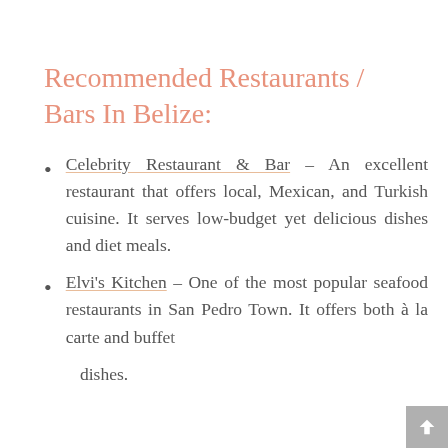Recommended Restaurants / Bars In Belize:
Celebrity Restaurant & Bar – An excellent restaurant that offers local, Mexican, and Turkish cuisine. It serves low-budget yet delicious dishes and diet meals.
Elvi's Kitchen – One of the most popular seafood restaurants in San Pedro Town. It offers both à la carte and buffet dishes.